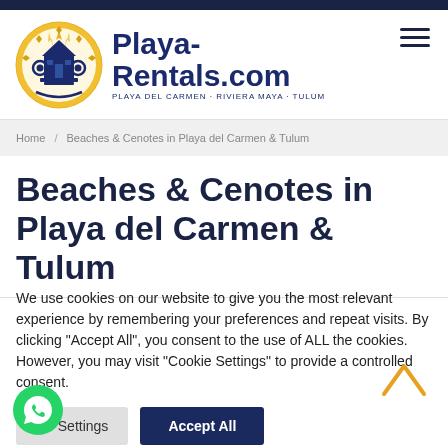[Figure (logo): Playa-Rentals.com logo with decorative circular Mayan-style emblem in blue and gold, text reading Playa-Rentals.com with tagline PLAYA DEL CARMEN · RIVIERA MAYA · TULUM]
Home / Beaches & Cenotes in Playa del Carmen & Tulum
Beaches & Cenotes in Playa del Carmen & Tulum
We use cookies on our website to give you the most relevant experience by remembering your preferences and repeat visits. By clicking "Accept All", you consent to the use of ALL the cookies. However, you may visit "Cookie Settings" to provide a controlled consent.